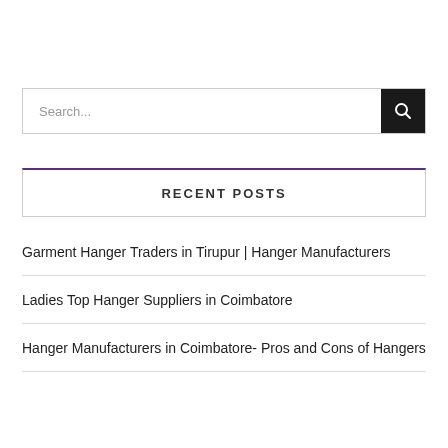[Figure (screenshot): Search bar with text input field showing placeholder 'Search...' and a dark search button with magnifying glass icon]
RECENT POSTS
Garment Hanger Traders in Tirupur | Hanger Manufacturers
Ladies Top Hanger Suppliers in Coimbatore
Hanger Manufacturers in Coimbatore- Pros and Cons of Hangers